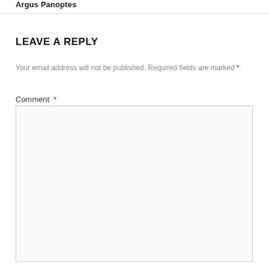Argus Panoptes
LEAVE A REPLY
Your email address will not be published. Required fields are marked *
Comment *